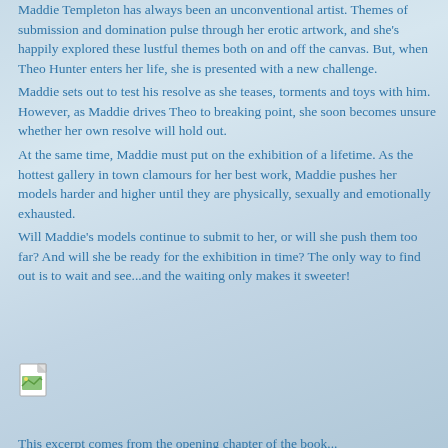Maddie Templeton has always been an unconventional artist. Themes of submission and domination pulse through her erotic artwork, and she's happily explored these lustful themes both on and off the canvas. But, when Theo Hunter enters her life, she is presented with a new challenge.
Maddie sets out to test his resolve as she teases, torments and toys with him. However, as Maddie drives Theo to breaking point, she soon becomes unsure whether her own resolve will hold out.
At the same time, Maddie must put on the exhibition of a lifetime. As the hottest gallery in town clamours for her best work, Maddie pushes her models harder and higher until they are physically, sexually and emotionally exhausted.
Will Maddie's models continue to submit to her, or will she push them too far? And will she be ready for the exhibition in time? The only way to find out is to wait and see...and the waiting only makes it sweeter!
[Figure (illustration): Small broken/missing image icon (document with green corner)]
This excerpt comes from the opening chapter of the book...